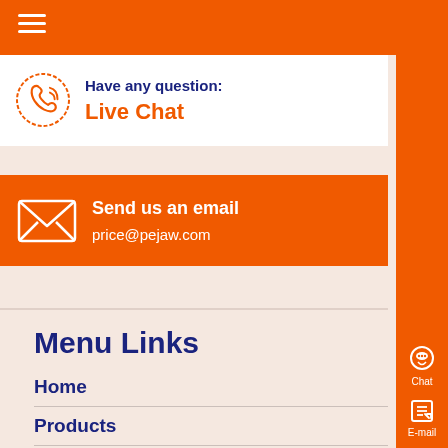[Figure (illustration): Orange top navigation bar with hamburger menu icon (three white horizontal lines)]
[Figure (illustration): Phone/call icon next to 'Have any question?' and 'Live Chat' text on white background]
Have any question:
Live Chat
[Figure (illustration): Envelope/mail icon on orange background]
Send us an email
price@pejaw.com
Menu Links
Home
Products
Solutions
Project
About
[Figure (illustration): Right sidebar with orange background containing Chat (headset icon), E-mail (notepad icon), Top (up arrow icon), and X (close) controls]